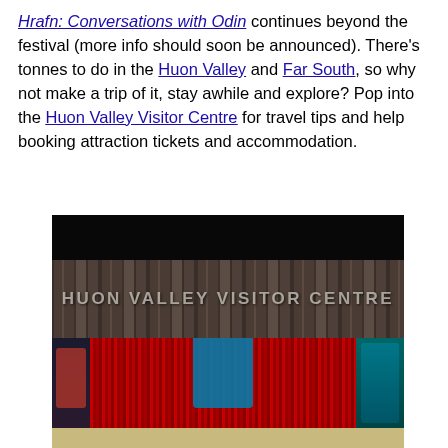Hrafn: Conversations with Odin continues beyond the festival (more info should soon be announced). There's tonnes to do in the Huon Valley and Far South, so why not make a trip of it, stay awhile and explore? Pop into the Huon Valley Visitor Centre for travel tips and help booking attraction tickets and accommodation.
[Figure (photo): Interior photograph of the Huon Valley Visitor Centre showing a wooden panel facade with the text 'HUON VALLEY VISITOR CENTRE' and a glowing red illuminated display area inside.]